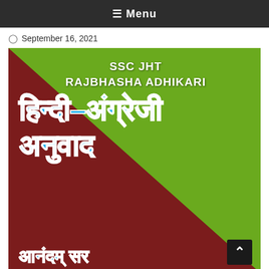☰ Menu
⊙ September 16, 2021
[Figure (illustration): Book cover for SSC JHT Rajbhasha Adhikari Hindi-Angrezi Anuvad (Hindi-English Translation). Dark red and green split background with large blue Devanagari and white Latin text.]